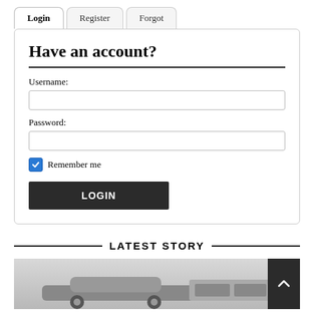Login | Register | Forgot
Have an account?
Username:
Password:
Remember me
LOGIN
LATEST STORY
[Figure (photo): Black and white photo of a car, partially visible at the bottom of the page]